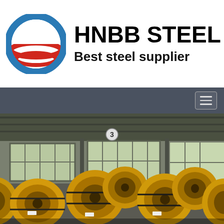[Figure (logo): HNBB Steel company logo: circular Obama-style logo with blue ring and red swoosh stripes, followed by company name HNBB STEEL in bold black and tagline Best steel supplier]
HNBB STEEL
Best steel supplier
[Figure (photo): Navigation bar with hamburger menu icon on dark grey background]
[Figure (photo): Industrial warehouse interior showing multiple large yellow steel coils/rolls stacked in rows, with large windows in the background letting in natural light, metal roof structure visible]